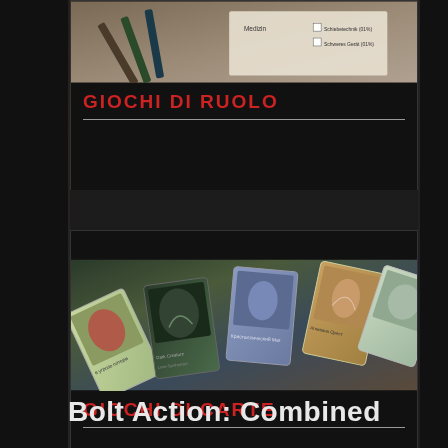[Figure (photo): Photo of RPG game materials including pencils and character sheets with German text (Medizin, Schiebetechnik 01%, Schweres Gerät 01%)]
GIOCHI DI RUOLO
[Figure (photo): Photo of scattered trading/collectible cards with fantasy artwork, some text in what appears to be Russian]
GIOCHI DI CARTE
Bolt Action: Combined